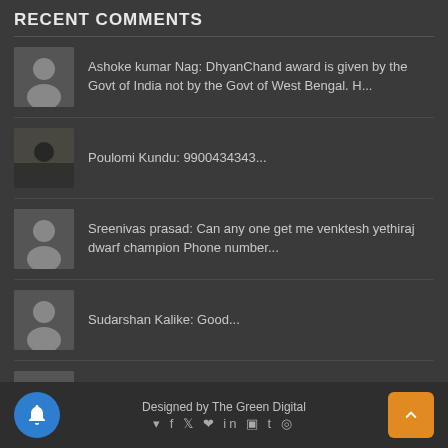RECENT COMMENTS
Ashoke kumar Nag: DhyanChand award is given by the Govt of India not by the Govt of West Bengal. H...
Poulomi Kundu: 9900434343...
Sreenivas prasad: Can any one get me venktesh yethiraj dwarf champion Phone number...
Sudarshan Kalike: Good...
SUBIR BANERJI: Really enjoyed reading the nice article by Sunil Valavalkar. I just came across...
Designed by The Green Digital